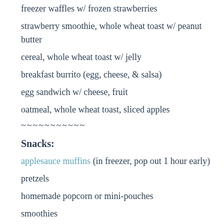freezer waffles w/ frozen strawberries
strawberry smoothie, whole wheat toast w/ peanut butter
cereal, whole wheat toast w/ jelly
breakfast burrito (egg, cheese, & salsa)
egg sandwich w/ cheese, fruit
oatmeal, whole wheat toast, sliced apples
~~~~~~~~~~~
Snacks:
applesauce muffins (in freezer, pop out 1 hour early)
pretzels
homemade popcorn or mini-pouches
smoothies
apples w/ peanut butter
applesauce